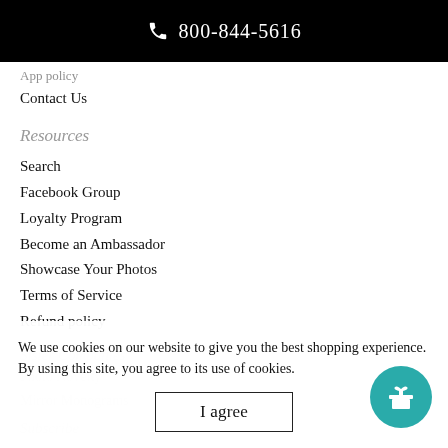800-844-5616
Contact Us
Resources
Search
Facebook Group
Loyalty Program
Become an Ambassador
Showcase Your Photos
Terms of Service
Refund policy
Sister Companies
Photo Novelty
Mirror Monograms
Subscribe
We use cookies on our website to give you the best shopping experience. By using this site, you agree to its use of cookies.
I agree